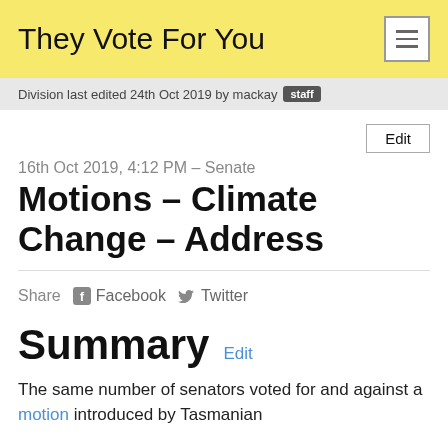They Vote For You
Division last edited 24th Oct 2019 by mackay  staff
Edit
16th Oct 2019, 4:12 PM – Senate
Motions – Climate Change – Address
Share  Facebook  Twitter
Summary
The same number of senators voted for and against a motion introduced by Tasmanian